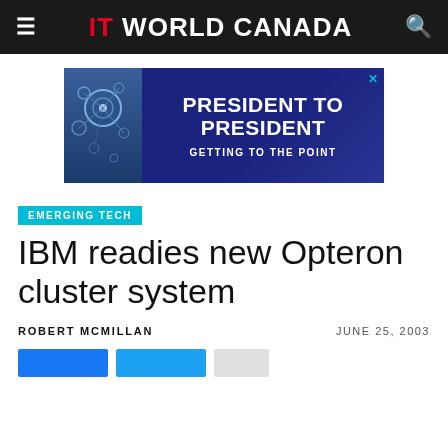IT WORLD CANADA
[Figure (other): Advertisement banner: PRESIDENT TO PRESIDENT - GETTING TO THE POINT, dark blue background with tech imagery on left]
EMERGING TECH
IBM readies new Opteron cluster system
ROBERT MCMILLAN   JUNE 25, 2003